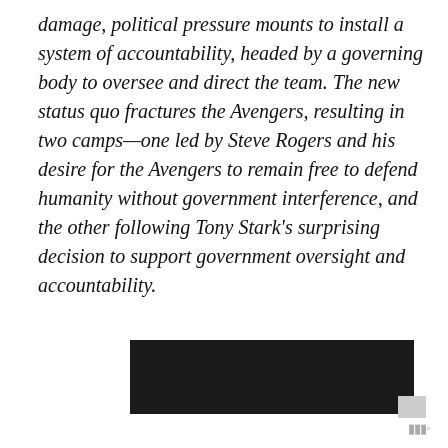damage, political pressure mounts to install a system of accountability, headed by a governing body to oversee and direct the team. The new status quo fractures the Avengers, resulting in two camps—one led by Steve Rogers and his desire for the Avengers to remain free to defend humanity without government interference, and the other following Tony Stark's surprising decision to support government oversight and accountability.
[Figure (photo): A dark/black rectangular image block, likely a redacted or blacked-out image or video thumbnail.]